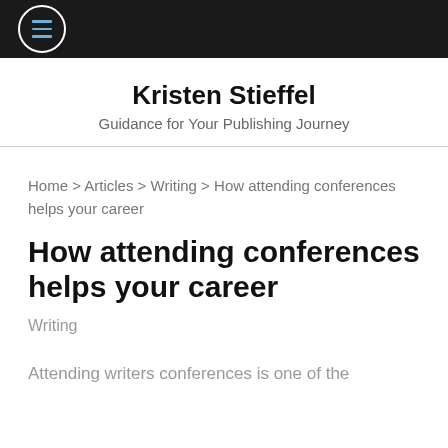☰ (menu icon)
Kristen Stieffel
Guidance for Your Publishing Journey
Home > Articles > Writing > How attending conferences helps your career
How attending conferences helps your career
Writing
Attending writers conferences is one of the